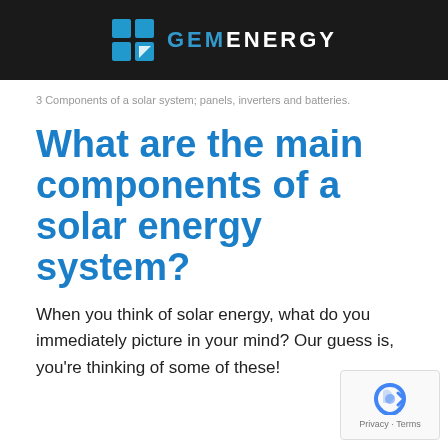[Figure (logo): GEM Energy logo with teal solar panel grid icon and white GEMENERGY text on dark background header bar]
3 Components of a solar system; panels, inverters and batteries.
What are the main components of a solar energy system?
When you think of solar energy, what do you immediately picture in your mind? Our guess is, you’re thinking of some of these!